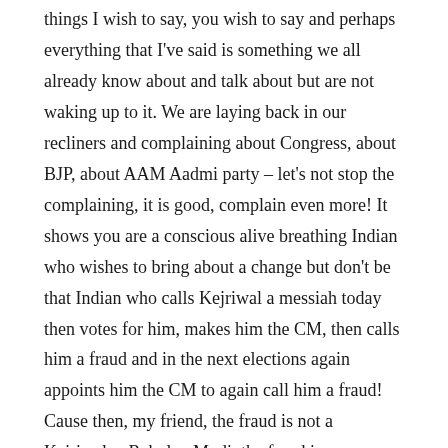things I wish to say, you wish to say and perhaps everything that I've said is something we all already know about and talk about but are not waking up to it. We are laying back in our recliners and complaining about Congress, about BJP, about AAM Aadmi party – let's not stop the complaining, it is good, complain even more! It shows you are a conscious alive breathing Indian who wishes to bring about a change but don't be that Indian who calls Kejriwal a messiah today then votes for him, makes him the CM, then calls him a fraud and in the next elections again appoints him the CM to again call him a fraud! Cause then, my friend, the fraud is not a Kejriwal, a Rahul, a Modi, the fraud is you, me, the fraud is us!
Let's consciously, this 15th August 2016, WAKE UP INDIA.